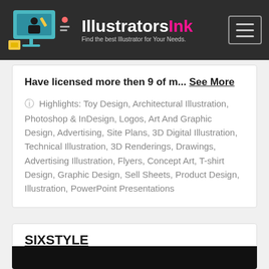IllustratorsInk – Find the best Illustrator for Your Needs.
Have licensed more then 9 of m... See More
Highlights: Toy Design, Architectural Illustration, Photoshop & InDesign, Logos, Art And Graphic Design, Advertising, Site Plans, 3D Digital Illustration, Technical Illustration, 3D Renderings, Drawings, Advertising Illustration, Flyers, Concept Art, T-shirt Design, Graphic Design, Sell Sheets, Product Design, Illustration, PowerPoint Presentations
SIXSTYLE
26 miles from Altoona, PA